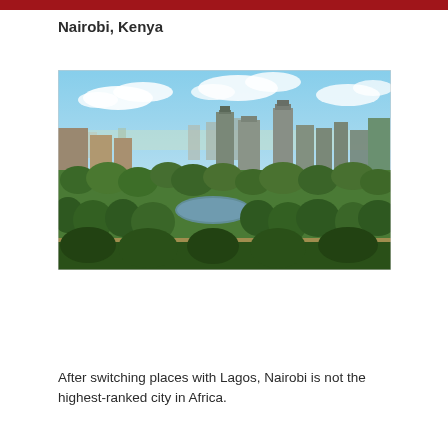Nairobi, Kenya
[Figure (photo): Aerial panoramic view of Nairobi city skyline with green parkland and trees in the foreground, tall modern skyscrapers in the background under a partly cloudy blue sky.]
After switching places with Lagos, Nairobi is not the highest-ranked city in Africa.